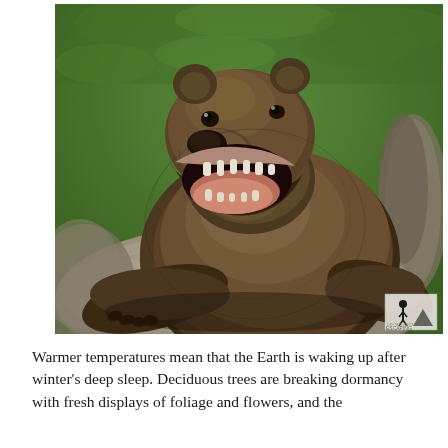[Figure (photo): A large brown grizzly bear with mouth wide open, resting its front paws on a large boulder rock. The bear is leaning over the rock with its head up and mouth roaring. Green grass and rocky surroundings are visible in the background. A small white watermark logo is visible in the bottom-right corner of the image.]
Warmer temperatures mean that the Earth is waking up after winter's deep sleep. Deciduous trees are breaking dormancy with fresh displays of foliage and flowers, and the